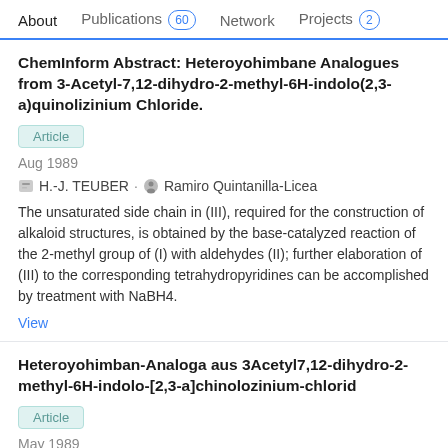About  Publications 60  Network  Projects 2
ChemInform Abstract: Heteroyohimbane Analogues from 3-Acetyl-7,12-dihydro-2-methyl-6H-indolo(2,3-a)quinolizinium Chloride.
Article
Aug 1989
H.-J. TEUBER · Ramiro Quintanilla-Licea
The unsaturated side chain in (III), required for the construction of alkaloid structures, is obtained by the base-catalyzed reaction of the 2-methyl group of (I) with aldehydes (II); further elaboration of (III) to the corresponding tetrahydropyridines can be accomplished by treatment with NaBH4.
View
Heteroyohimban-Analoga aus 3Acetyl7,12-dihydro-2-methyl-6H-indolo-[2,3-a]chinolozinium-chlorid
Article
May 1989